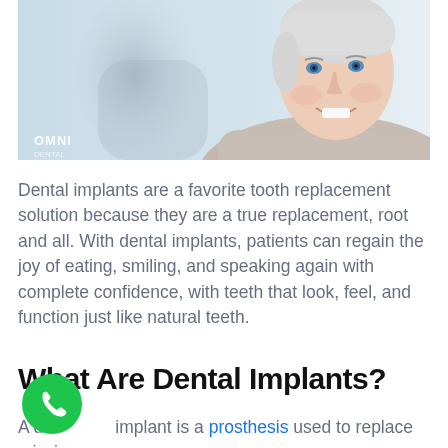[Figure (photo): Close-up photo of a smiling middle-aged woman with short white/silver hair and blue eyes, against a light background. Another blurred figure visible in the background. OMNI logo in lower left corner of photo.]
Dental implants are a favorite tooth replacement solution because they are a true replacement, root and all. With dental implants, patients can regain the joy of eating, smiling, and speaking again with complete confidence, with teeth that look, feel, and function just like natural teeth.
What Are Dental Implants?
A dental implant is a prosthesis used to replace missing teeth. Essentially it is a small titanium post (fixture) that is